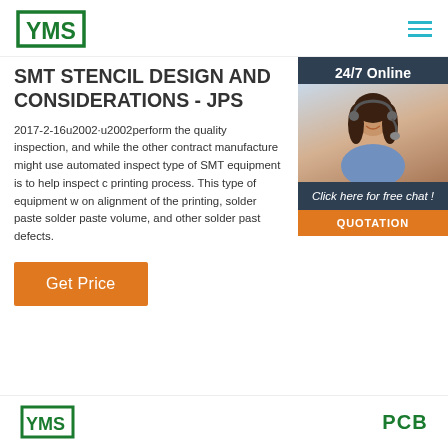YMS logo and navigation
SMT STENCIL DESIGN AND CONSIDERATIONS - Jps
2017-2-16u2002·u2002perform the quality inspection, and while the other contract manufacture might use automated inspect type of SMT equipment is to help inspect c printing process. This type of equipment w on alignment of the printing, solder paste solder paste volume, and other solder past defects.
[Figure (photo): Customer support agent photo with 24/7 Online label, Click here for free chat text, and QUOTATION button on dark sidebar]
Get Price
[Figure (logo): YMS logo at bottom left]
PCB